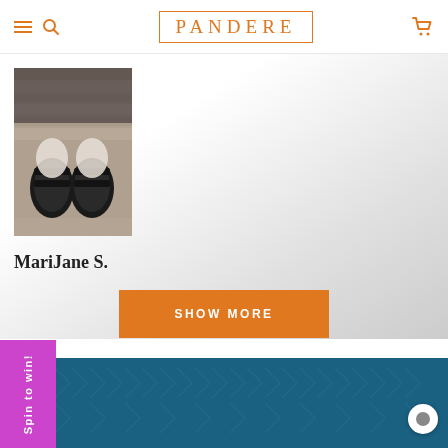PANDERE
[Figure (photo): Photo of feet wearing black sandals on a wooden floor surface, shown from above]
MariJane S.
SHOW MORE
Spin to win!